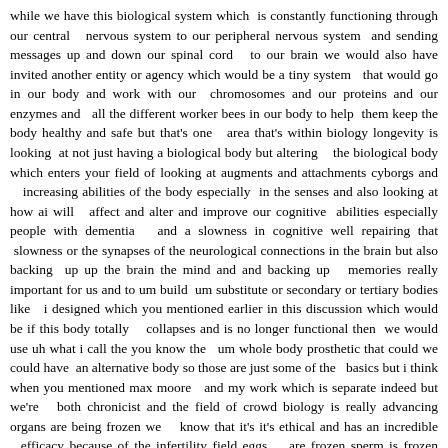while we have this biological system which is constantly functioning through our central nervous system to our peripheral nervous system and sending messages up and down our spinal cord to our brain we would also have invited another entity or agency which would be a tiny system that would go in our body and work with our chromosomes and our proteins and our enzymes and all the different worker bees in our body to help them keep the body healthy and safe but that's one area that's within biology longevity is looking at not just having a biological body but altering the biological body which enters your field of looking at augments and attachments cyborgs and increasing abilities of the body especially in the senses and also looking at how ai will affect and alter and improve our cognitive abilities especially people with dementia and a slowness in cognitive well repairing that slowness or the synapses of the neurological connections in the brain but also backing up up the brain the mind and and backing up memories really important for us and to um build um substitute or secondary or tertiary bodies like i designed which you mentioned earlier in this discussion which would be if this body totally collapses and is no longer functional then we would use uh what i call the you know the um whole body prosthetic that could we could have an alternative body so those are just some of the basics but i think when you mentioned max moore and my work which is separate indeed but we're both chronicist and the field of crowd biology is really advancing organs are being frozen we know that it's it's ethical and has an incredible efficacy because of the infertility field eggs are frozen sperm is frozen embryos are frozen in fact the first embryo baby in 1972 it was a test tube baby um was injected into a woman and the woman gave birth so we're looking at a history of infertility being at the forefront of longevity and manipulating or mitigating or intervening with some of the problems of biology but longevity um is sometimes we may wish and hope to have all these new technologies and advances but something happens that's unexpected walk outside